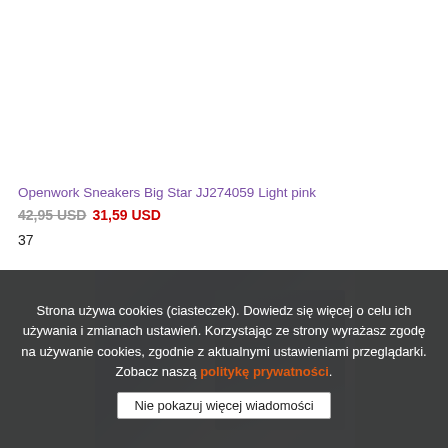Openwork Sneakers Big Star JJ274059 Light pink
42,95 USD  31,59 USD
37
[Figure (photo): Close-up photo of a light blue/grey fabric or shoe material, likely the sneaker product being advertised]
Strona używa cookies (ciasteczek). Dowiedz się więcej o celu ich używania i zmianach ustawień. Korzystając ze strony wyrażasz zgodę na używanie cookies, zgodnie z aktualnymi ustawieniami przeglądarki. Zobacz naszą politykę prywatności.
Nie pokazuj więcej wiadomości